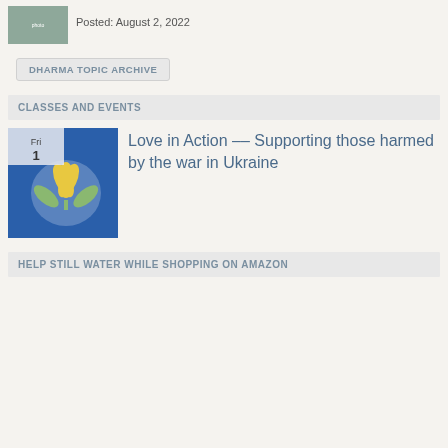[Figure (photo): Small thumbnail image of a building or structure]
Posted: August 2, 2022
DHARMA TOPIC ARCHIVE
CLASSES AND EVENTS
[Figure (illustration): Blue square event thumbnail with a lotus flower graphic and a date badge showing Fri 1]
Love in Action –– Supporting those harmed by the war in Ukraine
HELP STILL WATER WHILE SHOPPING ON AMAZON